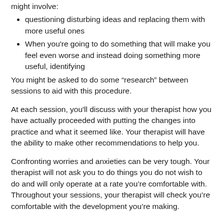might involve:
questioning disturbing ideas and replacing them with more useful ones
When you're going to do something that will make you feel even worse and instead doing something more useful, identifying
You might be asked to do some “research” between sessions to aid with this procedure.
At each session, you'll discuss with your therapist how you have actually proceeded with putting the changes into practice and what it seemed like. Your therapist will have the ability to make other recommendations to help you.
Confronting worries and anxieties can be very tough. Your therapist will not ask you to do things you do not wish to do and will only operate at a rate you’re comfortable with. Throughout your sessions, your therapist will check you’re comfortable with the development you’re making.